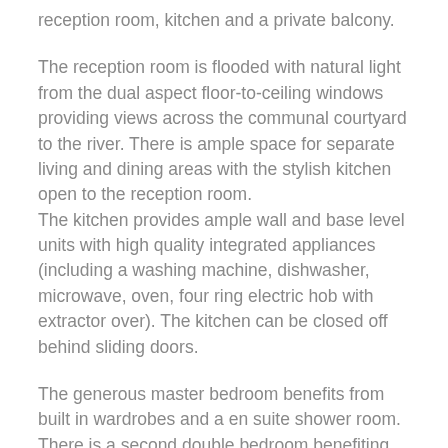reception room, kitchen and a private balcony.
The reception room is flooded with natural light from the dual aspect floor-to-ceiling windows providing views across the communal courtyard to the river. There is ample space for separate living and dining areas with the stylish kitchen open to the reception room.
The kitchen provides ample wall and base level units with high quality integrated appliances (including a washing machine, dishwasher, microwave, oven, four ring electric hob with extractor over). The kitchen can be closed off behind sliding doors.
The generous master bedroom benefits from built in wardrobes and a en suite shower room. There is a second double bedroom benefiting from access to